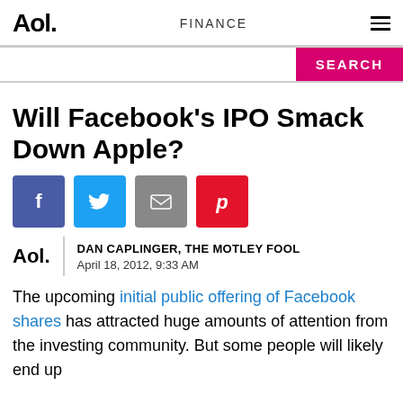Aol.  FINANCE
Will Facebook's IPO Smack Down Apple?
[Figure (infographic): Social sharing icons: Facebook (blue), Twitter (light blue), Email (gray), Pinterest (red)]
DAN CAPLINGER, THE MOTLEY FOOL
April 18, 2012, 9:33 AM
The upcoming initial public offering of Facebook shares has attracted huge amounts of attention from the investing community. But some people will likely end up